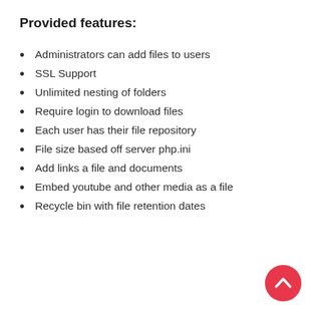Provided features:
Administrators can add files to users
SSL Support
Unlimited nesting of folders
Require login to download files
Each user has their file repository
File size based off server php.ini
Add links a file and documents
Embed youtube and other media as a file
Recycle bin with file retention dates